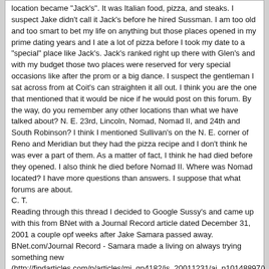location became 'Jack's'. It was Italian food, pizza, and steaks. I suspect Jake didn't call it Jack's before he hired Sussman. I am too old and too smart to bet my life on anything but those places opened in my prime dating years and I ate a lot of pizza before I took my date to a "special" place like Jack's. Jack's ranked right up there with Glen's and with my budget those two places were reserved for very special occasions like after the prom or a big dance. I suspect the gentleman I sat across from at Coit's can straighten it all out. I think you are the one that mentioned that it would be nice if he would post on this forum. By the way, do you remember any other locations than what we have talked about? N. E. 23rd, Lincoln, Nomad, Nomad II, and 24th and South Robinson? I think I mentioned Sullivan's on the N. E. corner of Reno and Meridian but they had the pizza recipe and I don't think he was ever a part of them. As a matter of fact, I think he had died before they opened. I also think he died before Nomad II. Where was Nomad located? I have more questions than answers. I suppose that what forums are about.
C. T.
Reading through this thread I decided to Google Sussy's and came up with this from BNet with a Journal Record article dated December 31, 2001 a couple opf weeks after Jake Samara passed away.
BNet.com/Journal Record - Samara made a living on always trying something new
(http://findarticles.com/p/articles/mi_qn4182/is_20011231/ai_n10148897/)
bella suzanne
Actually, the spaghetti Warehouse started out of state. I ate at one in the Dallas/Ft. Worth area long before bricktown. The Spaghetti Factory was in the Paseo district around N. W. 34th, East of Shartel.
C. T.

OK.. I was wondering if Jake had Spaghetti Factory before Spaghetti Warehouse but it sounds as if he did not.
Thanks for the info
bluedogok